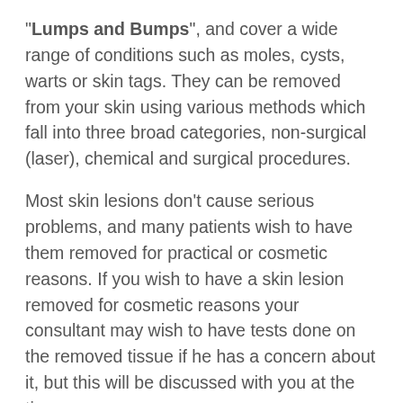"Lumps and Bumps", and cover a wide range of conditions such as moles, cysts, warts or skin tags. They can be removed from your skin using various methods which fall into three broad categories, non-surgical (laser), chemical and surgical procedures.
Most skin lesions don't cause serious problems, and many patients wish to have them removed for practical or cosmetic reasons. If you wish to have a skin lesion removed for cosmetic reasons your consultant may wish to have tests done on the removed tissue if he has a concern about it, but this will be discussed with you at the time
As mentioned above there are several different methods to remove skin lesions – the type of procedure you have will depend on the type of skin lesion you have. If you have benign (non-cancerous) warts for example, you can be treated with non-